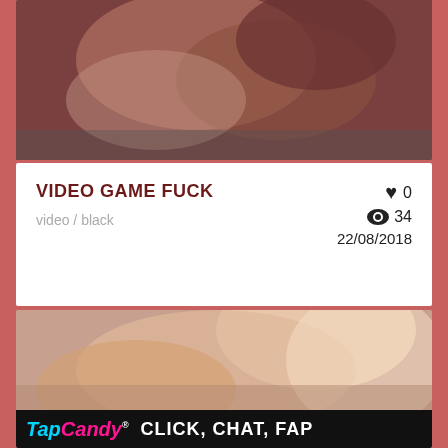[Figure (photo): Cropped close-up photo of two people in an intimate scene, dark tones]
VIDEO GAME FUCK
video / black
♥ 0  👁 34  22/08/2018
[Figure (photo): Close-up photo of a blonde woman smiling, explicit content partially visible, with FapCandy advertisement banner at bottom reading CLICK, CHAT, FAP]